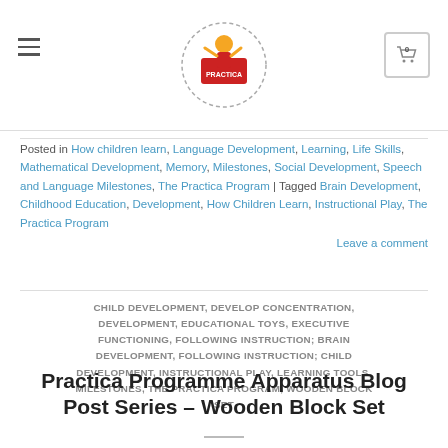Practica logo and navigation header
Posted in How children learn, Language Development, Learning, Life Skills, Mathematical Development, Memory, Milestones, Social Development, Speech and Language Milestones, The Practica Program | Tagged Brain Development, Childhood Education, Development, How Children Learn, Instructional Play, The Practica Program
Leave a comment
CHILD DEVELOPMENT, DEVELOP CONCENTRATION, DEVELOPMENT, EDUCATIONAL TOYS, EXECUTIVE FUNCTIONING, FOLLOWING INSTRUCTION; BRAIN DEVELOPMENT, FOLLOWING INSTRUCTION; CHILD DEVELOPMENT, INSTRUCTIONAL PLAY, LEARNING TOOLS, MILESTONES, THE PRACTICA PROGRAM, WOODEN BLOCK SET
Practica Programme Apparatus Blog Post Series – Wooden Block Set